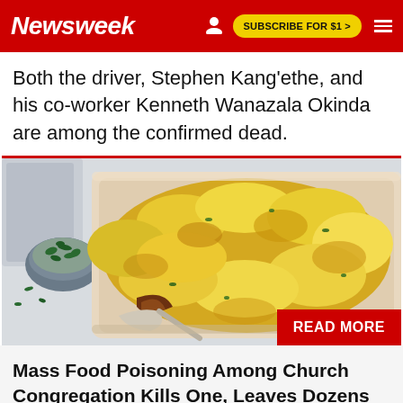Newsweek | SUBSCRIBE FOR $1 >
Both the driver, Stephen Kang'ethe, and his co-worker Kenneth Wanazala Okinda are among the confirmed dead.
[Figure (photo): Photo of a baked casserole dish with cheesy mashed potato topping and meat filling, with a bowl of chopped herbs on the side. Red 'READ MORE' badge in the bottom right corner.]
Mass Food Poisoning Among Church Congregation Kills One, Leaves Dozens Ill